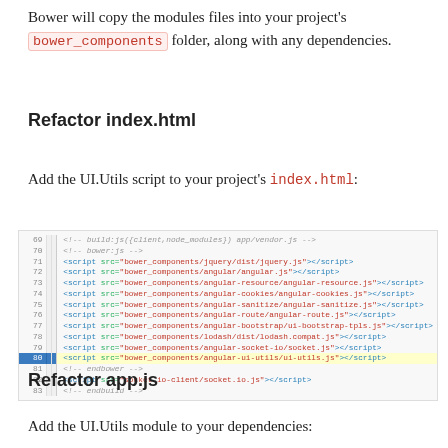Bower will copy the modules files into your project's bower_components folder, along with any dependencies.
Refactor index.html
Add the UI.Utils script to your project's index.html:
[Figure (screenshot): Code editor screenshot showing lines 69-83 of an HTML file with script tags for bower components. Line 80 is highlighted in blue/yellow showing the angular-ui-utils script tag.]
Refactor app.js
Add the UI.Utils module to your dependencies: